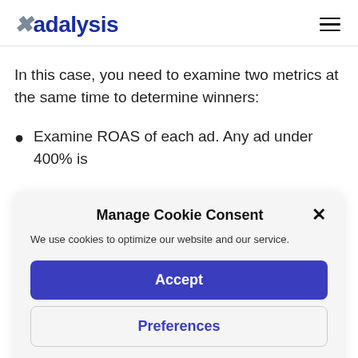Adalysis
In this case, you need to examine two metrics at the same time to determine winners:
Examine ROAS of each ad. Any ad under 400% is
Manage Cookie Consent
We use cookies to optimize our website and our service.
Accept
Preferences
Cookie Policy   Privacy Policy